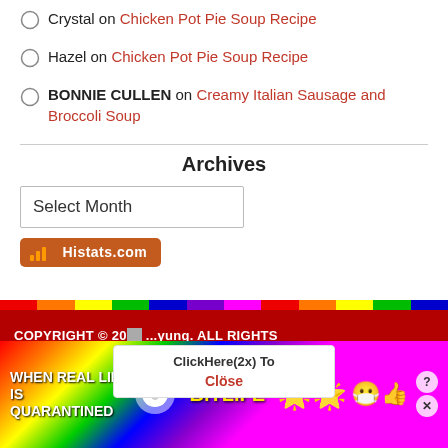Crystal on Chicken Pot Pie Soup Recipe
Hazel on Chicken Pot Pie Soup Recipe
BONNIE CULLEN on Creamy Italian Sausage and Broccoli Soup
Archives
Select Month
[Figure (logo): Histats.com bar chart logo button with orange background]
COPYRIGHT © 20[xx] ...yung. ALL RIGHTS
[Figure (screenshot): Popup overlay with 'ClickHere(2x) To Close' text]
[Figure (screenshot): BitLife advertisement banner - When Real Life Is Quarantined]